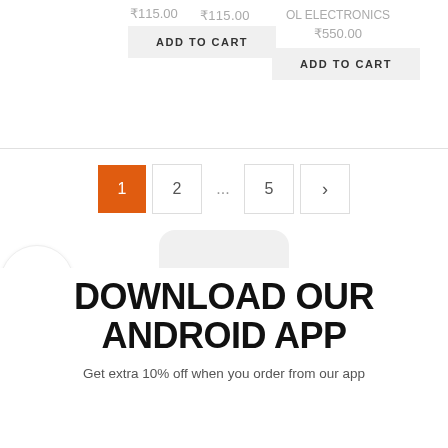₹115.00
ADD TO CART
OL ELECTRONICS
₹550.00
ADD TO CART
[Figure (other): Pagination bar with pages: 1 (active, orange), 2, ..., 5, >]
[Figure (other): Filter button (funnel icon) on left side]
[Figure (other): Phone illustration background for app download section]
DOWNLOAD OUR ANDROID APP
Get extra 10% off when you order from our app
[Figure (other): Scroll to top button with upward arrow]